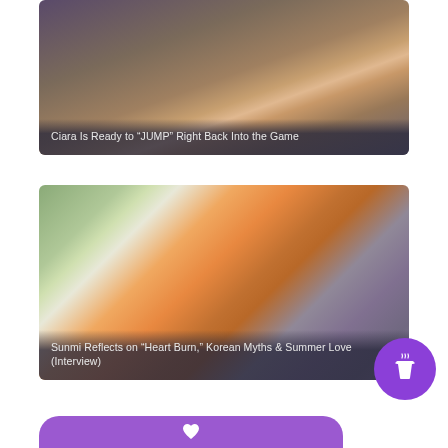[Figure (photo): Photo of Ciara with curly blonde hair pointing at the camera, wearing a grey outfit, dark moody background]
Ciara Is Ready to “JUMP” Right Back Into the Game
[Figure (photo): Photo of Sunmi with bright orange long hair, wearing a white outfit, sitting in a room with pictures on the wall]
Sunmi Reflects on “Heart Burn,” Korean Myths & Summer Love (Interview)